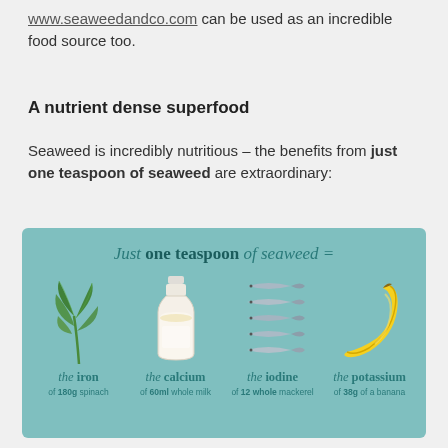www.seaweedandco.com can be used as an incredible food source too.
A nutrient dense superfood
Seaweed is incredibly nutritious – the benefits from just one teaspoon of seaweed are extraordinary:
[Figure (infographic): Infographic on a teal background showing that just one teaspoon of seaweed equals: the iron of 180g spinach (illustrated with spinach leaves), the calcium of 60ml whole milk (illustrated with a milk bottle), the iodine of 12 whole mackerel (illustrated with 5 stacked fish), and the potassium of 38g of a banana (illustrated with a banana). Header reads 'Just one teaspoon of seaweed =']